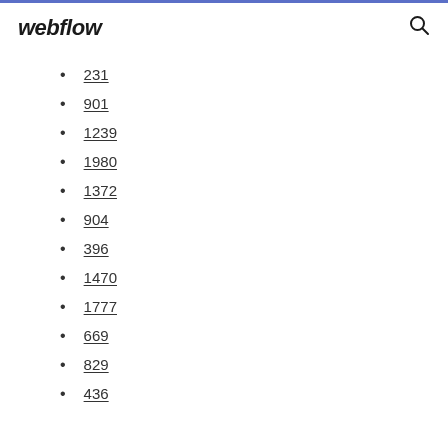webflow
231
901
1239
1980
1372
904
396
1470
1777
669
829
436